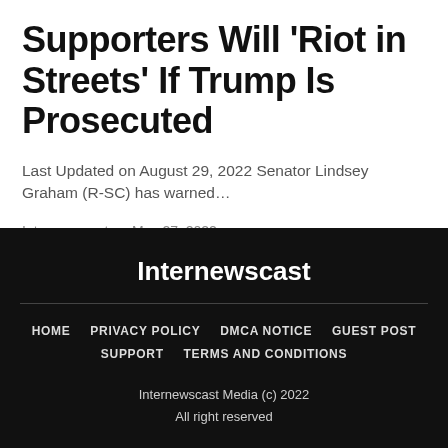Supporters Will 'Riot in Streets' If Trump Is Prosecuted
Last Updated on August 29, 2022 Senator Lindsey Graham (R-SC) has warned…
Internewscast · May 27, 2022
Internewscast

HOME  PRIVACY POLICY  DMCA NOTICE  GUEST POST  SUPPORT  TERMS AND CONDITIONS

Internewscast Media (c) 2022
All right reserved